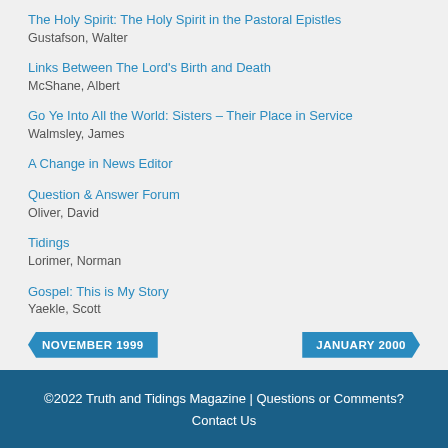The Holy Spirit: The Holy Spirit in the Pastoral Epistles
Gustafson, Walter
Links Between The Lord's Birth and Death
McShane, Albert
Go Ye Into All the World: Sisters – Their Place in Service
Walmsley, James
A Change in News Editor
Question & Answer Forum
Oliver, David
Tidings
Lorimer, Norman
Gospel: This is My Story
Yaekle, Scott
©2022 Truth and Tidings Magazine | Questions or Comments? Contact Us